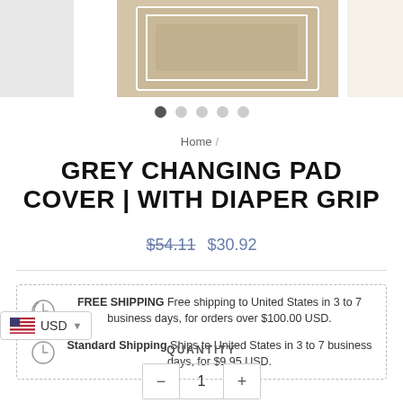[Figure (photo): Product image strip showing three thumbnail images: grey placeholder on left, product box in center on tan background, circular product on right]
Home /
GREY CHANGING PAD COVER | WITH DIAPER GRIP
$54.11  $30.92
FREE SHIPPING Free shipping to United States in 3 to 7 business days, for orders over $100.00 USD.
Standard Shipping Ships to United States in 3 to 7 business days, for $9.95 USD.
QUANTITY
1